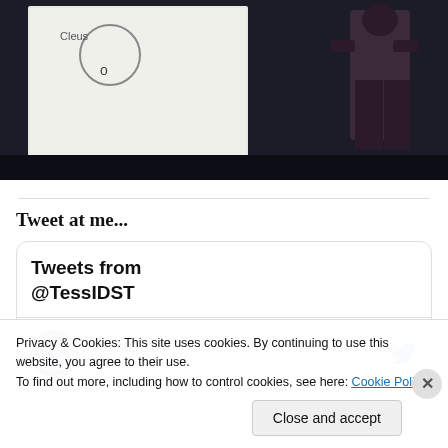[Figure (photo): A dark presentation room scene with a projected whiteboard slide on the left showing handwritten text and drawings, and a person standing to the right in front of a dark background.]
Tweet at me...
[Figure (screenshot): Twitter widget showing 'Tweets from @TessIDST' header and a tweet from TessIDST with avatar, username, @Tes... handle, and '6h' timestamp with Twitter bird icon.]
Privacy & Cookies: This site uses cookies. By continuing to use this website, you agree to their use.
To find out more, including how to control cookies, see here: Cookie Policy
Close and accept